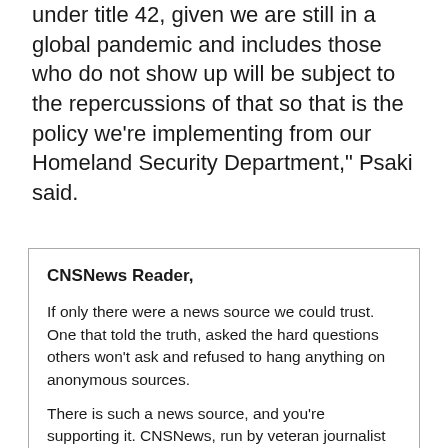under title 42, given we are still in a global pandemic and includes those who do not show up will be subject to the repercussions of that so that is the policy we're implementing from our Homeland Security Department," Psaki said.
CNSNews Reader,

If only there were a news source we could trust. One that told the truth, asked the hard questions others won't ask and refused to hang anything on anonymous sources.

There is such a news source, and you're supporting it. CNSNews, run by veteran journalist Terry Jeffrey, covers the news as it should be, without fear or favor. CNSNews...